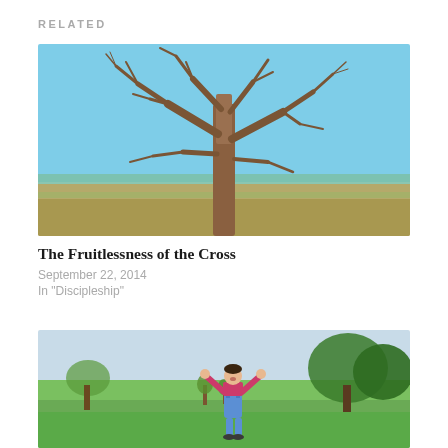RELATED
[Figure (photo): A bare leafless tree standing in an open flat field under a clear blue sky]
The Fruitlessness of the Cross
September 22, 2014
In "Discipleship"
[Figure (photo): A young child in overalls and a pink top with arms raised joyfully in a park with green grass and trees]